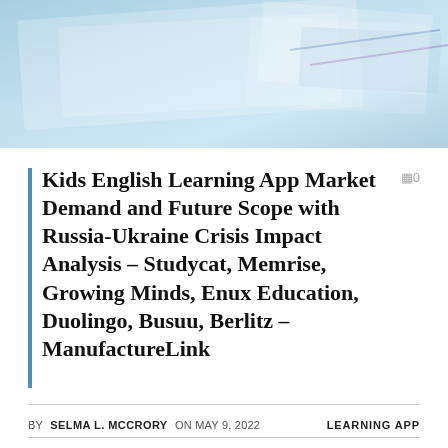[Figure (photo): Hero image showing a blurred background with light blue tones, suggesting charts or documents on a desk]
Kids English Learning App Market Demand and Future Scope with Russia-Ukraine Crisis Impact Analysis – Studycat, Memrise, Growing Minds, Enux Education, Duolingo, Busuu, Berlitz – ManufactureLink
BY SELMA L. MCCRORY ON MAY 9, 2022    LEARNING APP
New Jersey, USA, – Mr Accuracy Reports, Kids English